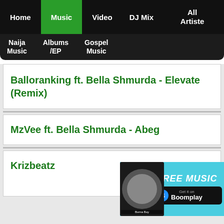Home | Music | Video | DJ Mix | All Artiste
Naija Music | Albums/EP | Gospel Music
Balloranking ft. Bella Shmurda - Elevate (Remix)
MzVee ft. Bella Shmurda - Abeg
Krizbeatz ...
[Figure (screenshot): Boomplay music app advertisement banner with FREE MUSIC text and Burna Boy thumbnail]